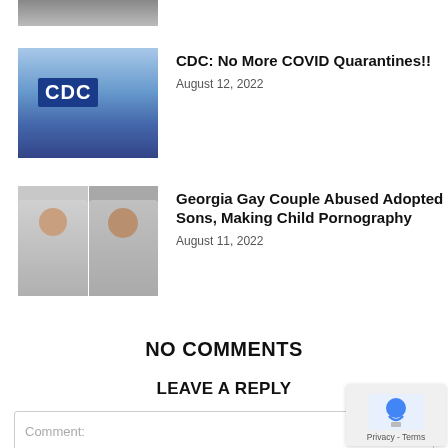[Figure (photo): Partial cropped photo at top of page, showing a person]
[Figure (photo): CDC building exterior with blue CDC logo sign]
CDC: No More COVID Quarantines!!
August 12, 2022
[Figure (photo): Two mugshot photos of two men side by side]
Georgia Gay Couple Abused Adopted Sons, Making Child Pornography
August 11, 2022
NO COMMENTS
LEAVE A REPLY
Comment: